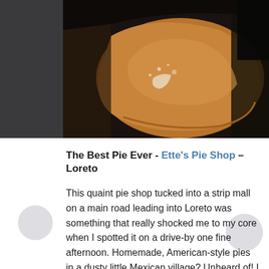[Figure (photo): Close-up photo of a baked pie slice or pastry, golden-brown crust with a dark filling visible, on a dark background. Left portion is dark/shadowed.]
The Best Pie Ever - Ette's Pie Shop – Loreto
This quaint pie shop tucked into a strip mall on a main road leading into Loreto was something that really shocked me to my core when I spotted it on a drive-by one fine afternoon. Homemade, American-style pies in a dusty little Mexican village? Unheard of! I blazed in, tastebuds on fire, ready to try everything and was stopped dead in my tracks at the scene I had waltzed into. Local farmers were sitting quietly chatting at a gingham cloth-covered table enjoying a steaming cup of